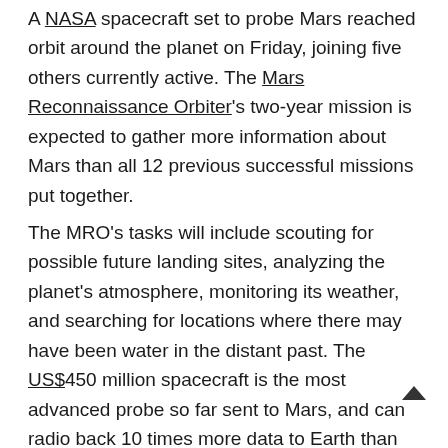A NASA spacecraft set to probe Mars reached orbit around the planet on Friday, joining five others currently active. The Mars Reconnaissance Orbiter's two-year mission is expected to gather more information about Mars than all 12 previous successful missions put together.
The MRO's tasks will include scouting for possible future landing sites, analyzing the planet's atmosphere, monitoring its weather, and searching for locations where there may have been water in the distant past. The US$450 million spacecraft is the most advanced probe so far sent to Mars, and can radio back 10 times more data to Earth than any previous probe. Cameras on the MRO can see objects on the planet the size of a card table.